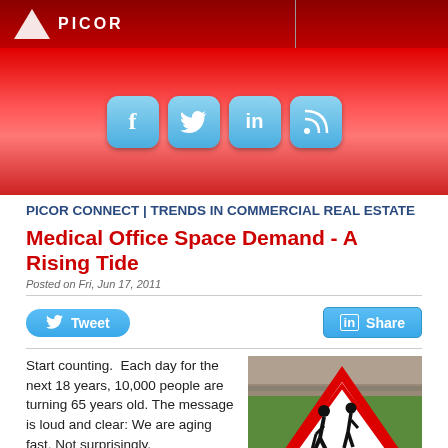[Figure (illustration): Red gradient website header banner with Picor logo (triangle icon and text) on left, white divider, right section; below are four social media icons (Facebook, Twitter, LinkedIn, Blog/RSS) as blue rounded squares on red gradient background]
PICOR CONNECT | TRENDS IN COMMERCIAL REAL ESTATE
Medical Office Space Demand - A Rising Tide
Posted on Fri, Jun 17, 2011
[Figure (illustration): Tweet button (blue rounded, Twitter bird icon) on left; LinkedIn Share button (blue square corners, LinkedIn icon) on right]
Start counting.  Each day for the next 18 years, 10,000 people are turning 65 years old. The message is loud and clear: We are aging fast. Not surprisingly,
[Figure (photo): Photograph of a red and white triangular warning road sign depicting elderly pedestrians (hunched figures with walking stick), against background of a rooftop and green foliage]